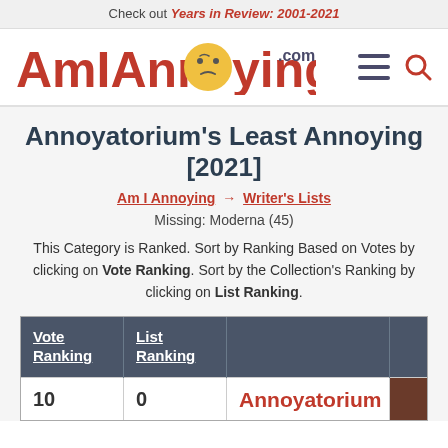Check out Years in Review: 2001-2021
[Figure (logo): AmIAnnoying.com logo with angry face emoji replacing the 'o', hamburger menu icon and search icon on the right]
Annoyatorium's Least Annoying [2021]
Am I Annoying → Writer's Lists
Missing: Moderna (45)
This Category is Ranked. Sort by Ranking Based on Votes by clicking on Vote Ranking. Sort by the Collection's Ranking by clicking on List Ranking.
| Vote Ranking | List Ranking |  |  |
| --- | --- | --- | --- |
| 10 | 0 | Annoyatorium |  |